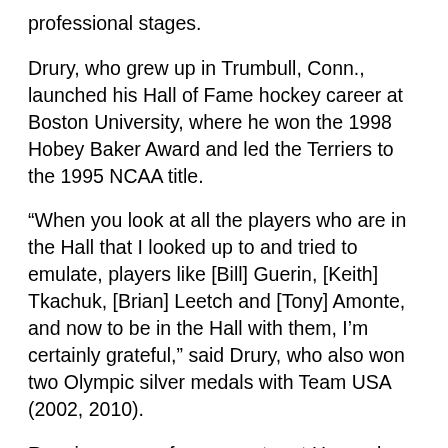professional stages.
Drury, who grew up in Trumbull, Conn., launched his Hall of Fame hockey career at Boston University, where he won the 1998 Hobey Baker Award and led the Terriers to the 1995 NCAA title.
“When you look at all the players who are in the Hall that I looked up to and tried to emulate, players like [Bill] Guerin, [Keith] Tkachuk, [Brian] Leetch and [Tony] Amonte, and now to be in the Hall with them, I’m certainly grateful,” said Drury, who also won two Olympic silver medals with Team USA (2002, 2010).
Ruggiero was a four-year star at Harvard University, where she led the Crimson to the 1999 NCAA title and was the recipient of the 2004 Patty Kazmaier Award as the top player in women’s college hockey.
“It’s amazing that it’s in the city that is a second home to me. I grew up in [Simi Valley] California but I played